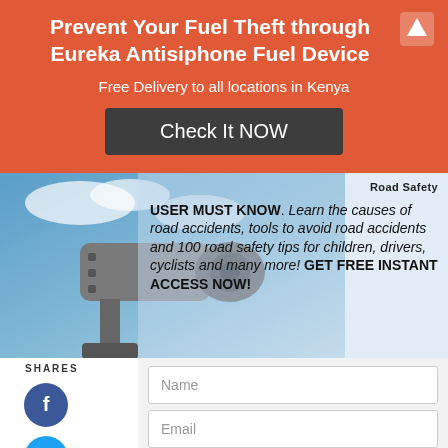Prevent Your Fuel Theft through Eureka Antisiphone Fuel Device
Free Delivery to all locations in Kenya
Check It NOW
[Figure (screenshot): A security camera mounted against a blue sky background, left panel of lower section]
Road Safety
USER MUST KNOW. Learn the causes of road accidents, tools to avoid road accidents and 100 road safety tips for children, drivers, cyclists and many more! GET FREE INSTANT ACCESS NOW!
SHARES
Name
Email
Give Me My Ebook Now
Electric Fence